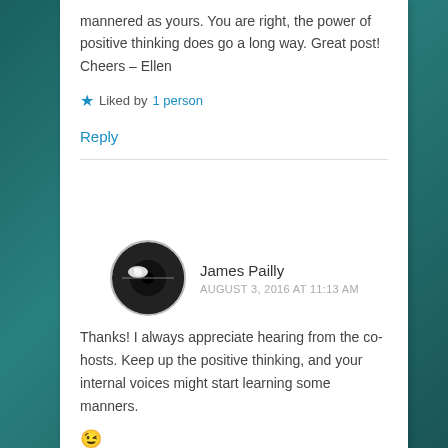mannered as yours. You are right, the power of positive thinking does go a long way. Great post! Cheers – Ellen
★ Liked by 1 person
Reply
James Pailly
AUGUST 3, 2016 AT 11:13 AM
Thanks! I always appreciate hearing from the co-hosts. Keep up the positive thinking, and your internal voices might start learning some manners. 😉
★ Like